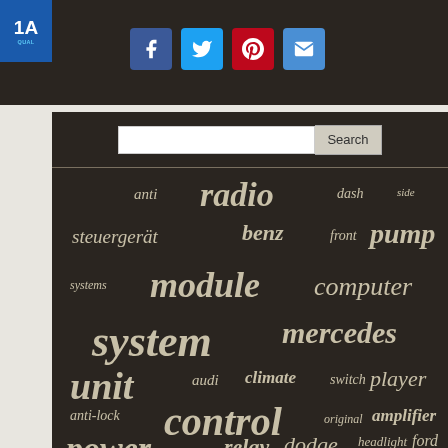[Figure (logo): 1A Auto logo in blue box with '1A' and 'QUAL...' text]
[Figure (infographic): Social share buttons: Facebook (blue), Twitter (light blue), Pinterest (red), Email (blue)]
[Figure (other): Search bar with text input and Search button]
[Figure (infographic): Word cloud on dark background with automotive terms: anti, radio, dash, side, steuergerät, benz, front, pump, systems, module, computer, system, mercedes, unit, audi, climate, switch, player, anti-lock, control, original, amplifier, power, relay, dodge, headlight, ford, brake, engine]